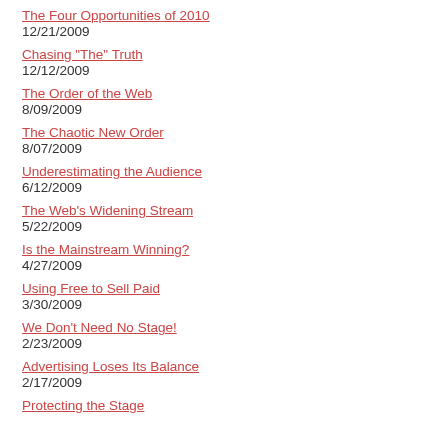The Four Opportunities of 2010
12/21/2009
Chasing "The" Truth
12/12/2009
The Order of the Web
8/09/2009
The Chaotic New Order
8/07/2009
Underestimating the Audience
6/12/2009
The Web's Widening Stream
5/22/2009
Is the Mainstream Winning?
4/27/2009
Using Free to Sell Paid
3/30/2009
We Don't Need No Stage!
2/23/2009
Advertising Loses Its Balance
2/17/2009
Protecting the Stage